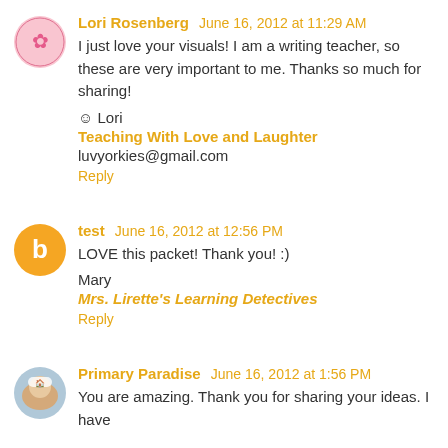Lori Rosenberg June 16, 2012 at 11:29 AM
I just love your visuals! I am a writing teacher, so these are very important to me. Thanks so much for sharing!
♻ Lori
Teaching With Love and Laughter
luvyorkies@gmail.com
Reply
test June 16, 2012 at 12:56 PM
LOVE this packet! Thank you! :)
Mary
Mrs. Lirette's Learning Detectives
Reply
Primary Paradise June 16, 2012 at 1:56 PM
You are amazing. Thank you for sharing your ideas. I have